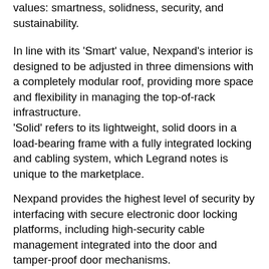values: smartness, solidness, security, and sustainability.
In line with its 'Smart' value, Nexpand's interior is designed to be adjusted in three dimensions with a completely modular roof, providing more space and flexibility in managing the top-of-rack infrastructure.
'Solid' refers to its lightweight, solid doors in a load-bearing frame with a fully integrated locking and cabling system, which Legrand notes is unique to the marketplace.
Nexpand provides the highest level of security by interfacing with secure electronic door locking platforms, including high-security cable management integrated into the door and tamper-proof door mechanisms.
The new cabinet has been constructed to ensure optimal airflow management to meet its'